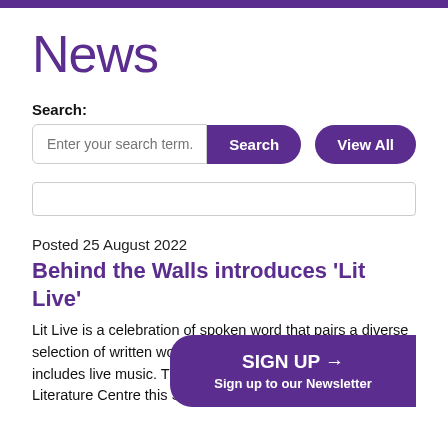News
Search:
[Figure (screenshot): Search input field with placeholder 'Enter your search term.', a purple 'Search' button, and a purple 'View All' button]
Posted 25 August 2022
Behind the Walls introduces 'Lit Live'
Lit Live is a celebration of spoken word that pairs a diverse selection of written works with dynamic... includes live music. This unique exp... Literature Centre this September!
SIGN UP →
Sign up to our Newsletter